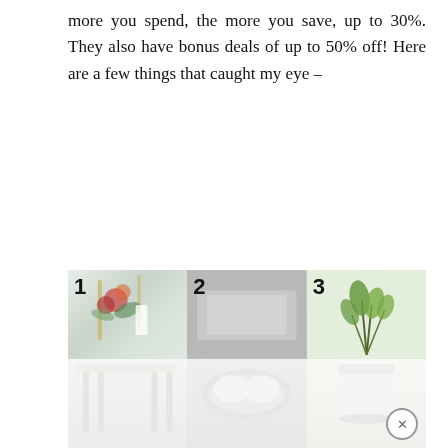more you spend, the more you save, up to 30%. They also have bonus deals of up to 50% off! Here are a few things that caught my eye –
[Figure (photo): Three numbered product photos in a row: 1) A dining table scene with floral arrangement and tableware in green/white tones, 2) A grey bedroom/bedding scene, 3) A white pot with green plant on a light green background. Each image is split showing top and bottom halves across the frame.]